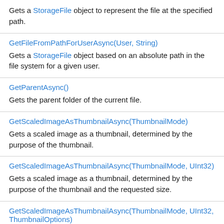Gets a StorageFile object to represent the file at the specified path.
GetFileFromPathForUserAsync(User, String)
Gets a StorageFile object based on an absolute path in the file system for a given user.
GetParentAsync()
Gets the parent folder of the current file.
GetScaledImageAsThumbnailAsync(ThumbnailMode)
Gets a scaled image as a thumbnail, determined by the purpose of the thumbnail.
GetScaledImageAsThumbnailAsync(ThumbnailMode, UInt32)
Gets a scaled image as a thumbnail, determined by the purpose of the thumbnail and the requested size.
GetScaledImageAsThumbnailAsync(ThumbnailMode, UInt32, ThumbnailOptions)